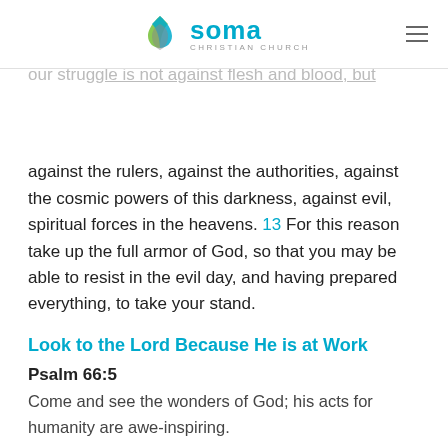SOMA CHRISTIAN CHURCH
strength. 11 Put on the full armor of God so that you can stand against the schemes of the devil. 12 For our struggle is not against flesh and blood, but against the rulers, against the authorities, against the cosmic powers of this darkness, against evil, spiritual forces in the heavens. 13 For this reason take up the full armor of God, so that you may be able to resist in the evil day, and having prepared everything, to take your stand.
Look to the Lord Because He is at Work
Psalm 66:5
Come and see the wonders of God; his acts for humanity are awe-inspiring.
Colossians 3:1-2
So if you have been raised with Christ, seek the things